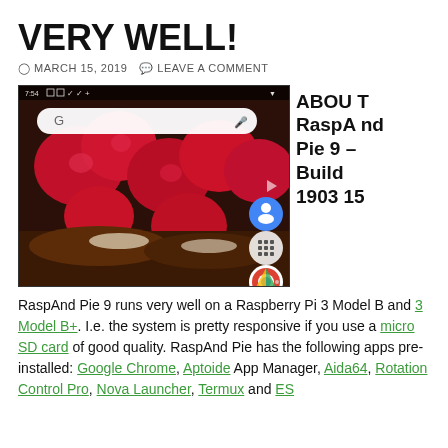VERY WELL!
MARCH 15, 2019   LEAVE A COMMENT
[Figure (screenshot): Android home screen (RaspAnd Pie 9) showing a food/raspberry wallpaper with Google search bar and app icons including Contacts, App Drawer, and Chrome]
ABOUT RaspAnd Pie 9 – Build 190315
RaspAnd Pie 9 runs very well on a Raspberry Pi 3 Model B and 3 Model B+. I.e. the system is pretty responsive if you use a micro SD card of good quality. RaspAnd Pie has the following apps pre-installed: Google Chrome, Aptoide App Manager, Aida64, Rotation Control Pro, Nova Launcher, Termux and ES